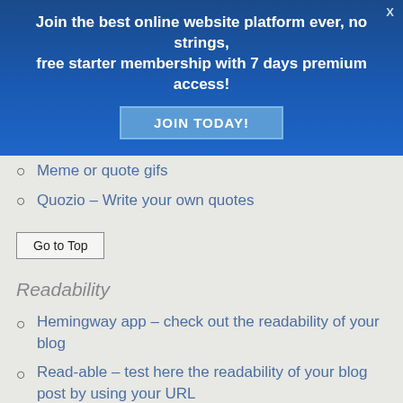[Figure (infographic): Blue promotional banner with text 'Join the best online website platform ever, no strings, free starter membership with 7 days premium access!' and a 'JOIN TODAY!' button. A close X in top right corner.]
Meme or quote gifs
Quozio – Write your own quotes
Go to Top
Readability
Hemingway app – check out the readability of your blog
Read-able – test here the readability of your blog post by using your URL
Readability-score – measure the readability from your post